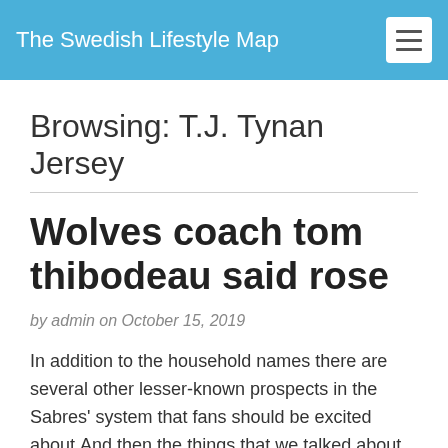The Swedish Lifestyle Map
Browsing: T.J. Tynan Jersey
Wolves coach tom thibodeau said rose
by admin on October 15, 2019
In addition to the household names there are several other lesser-known prospects in the Sabres' system that fans should be excited about.And then the things that we talked about all throughout last year, what we need, the types of guys we need to go in the right direction, that's the best thing about that Herford pulled down 12